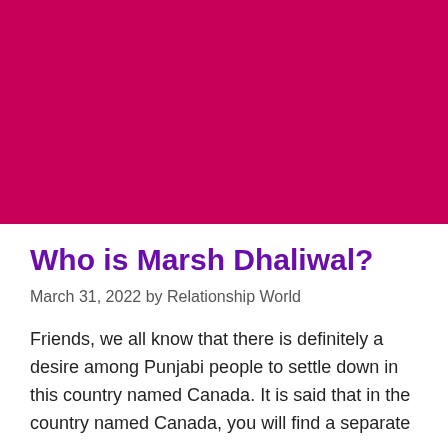[Figure (photo): Large crimson/magenta hero image block at the top of the page]
Who is Marsh Dhaliwal?
March 31, 2022 by Relationship World
Friends, we all know that there is definitely a desire among Punjabi people to settle down in this country named Canada. It is said that in the country named Canada, you will find a separate